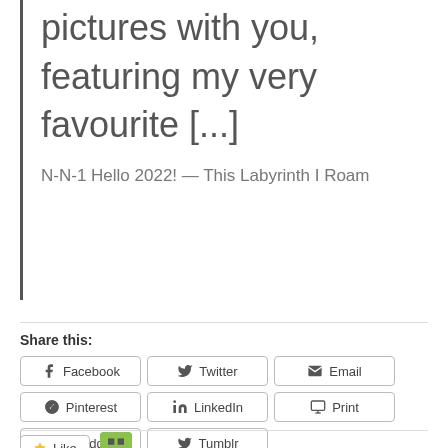pictures with you, featuring my very favourite [...]
N-N-1 Hello 2022! — This Labyrinth I Roam
Share this:
Facebook
Twitter
Email
Pinterest
LinkedIn
Print
Reddit
Tumblr
Like